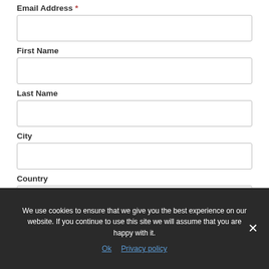Email Address *
First Name
Last Name
City
Country
We use cookies to ensure that we give you the best experience on our website. If you continue to use this site we will assume that you are happy with it.
Ok   Privacy policy